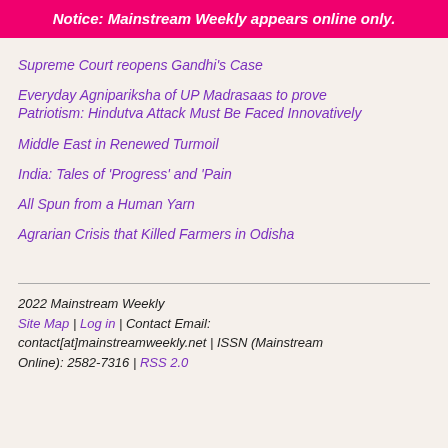Notice: Mainstream Weekly appears online only.
Supreme Court reopens Gandhi’s Case
Everyday Agnipariksha of UP Madrasaas to prove Patriotism: Hindutva Attack Must Be Faced Innovatively
Middle East in Renewed Turmoil
India: Tales of ‘Progress’ and ‘Pain
All Spun from a Human Yarn
Agrarian Crisis that Killed Farmers in Odisha
2022 Mainstream Weekly
Site Map | Log in | Contact Email: contact[at]mainstreamweekly.net | ISSN (Mainstream Online): 2582-7316 | RSS 2.0